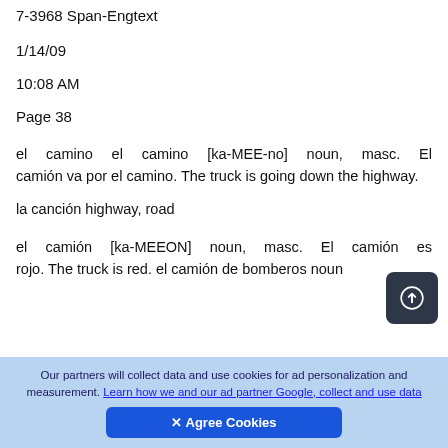7-3968 Span-Engtext
1/14/09
10:08 AM
Page 38
el camino el camino [ka-MEE-no] noun, masc. El camión va por el camino. The truck is going down the highway.
la canción highway, road
el camión [ka-MEEON] noun, masc. El camión es rojo. The truck is red. el camión de bomberos noun
Our partners will collect data and use cookies for ad personalization and measurement. Learn how we and our ad partner Google, collect and use data
✕ Agree Cookies